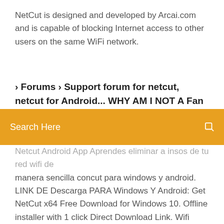NetCut is designed and developed by Arcai.com and is capable of blocking Internet access to other users on the same WiFi network.
› Forums › Support forum for netcut, netcut for Android... WHY AM I NOT A Fan b...
Search Here
Netcut Android App Aprendes eliminar a insos de tu red wifi de manera sencilla concut para windows y android. LINK DE Descarga PARA Windows Y Android: Get NetCut x64 Free Download for Windows 10. Offline installer with 1 click Direct Download Link. Wifi Killer Pc Download - Netcut Pro for Android, Made by official netcut developer arcai.com, With Netcut-Defender built-in released today, Only registered user in arcai.com been notified at first place. Arcai.com is the very first one discover ARP weakness, netcut for windows was released in 2001 in a small group of users. › Forums › Support forum for